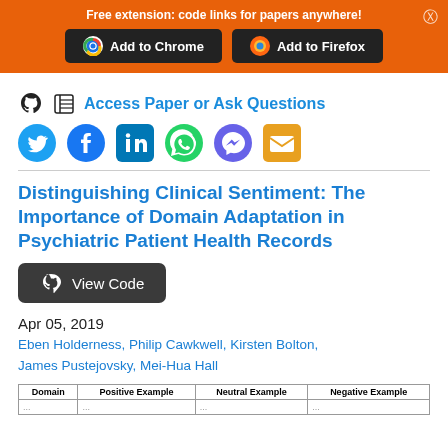Free extension: code links for papers anywhere!
[Figure (screenshot): Orange banner with Add to Chrome and Add to Firefox buttons]
Access Paper or Ask Questions
[Figure (infographic): Social media share icons: Twitter, Facebook, LinkedIn, WhatsApp, Messenger, Email]
Distinguishing Clinical Sentiment: The Importance of Domain Adaptation in Psychiatric Patient Health Records
[Figure (screenshot): View Code button with GitHub icon]
Apr 05, 2019
Eben Holderness, Philip Cawkwell, Kirsten Bolton, James Pustejovsky, Mei-Hua Hall
| Domain | Positive Example | Neutral Example | Negative Example |
| --- | --- | --- | --- |
| ... | ... | ... | ... |